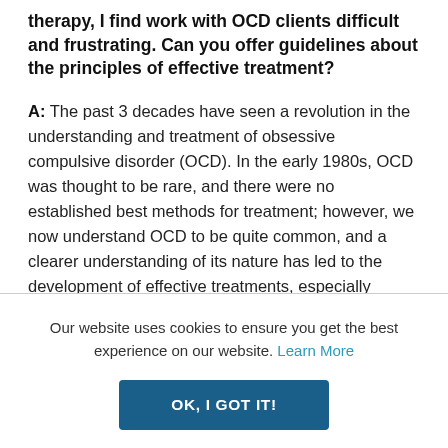therapy, I find work with OCD clients difficult and frustrating. Can you offer guidelines about the principles of effective treatment?
A: The past 3 decades have seen a revolution in the understanding and treatment of obsessive compulsive disorder (OCD). In the early 1980s, OCD was thought to be rare, and there were no established best methods for treatment; however, we now understand OCD to be quite common, and a clearer understanding of its nature has led to the development of effective treatments, especially exposure and response prevention (ERP), sometimes called exposure and ritual prevention. Additionally, the introduction of effective psychopharmacology has broadened the range of people with this disorder who can be helped.
Our website uses cookies to ensure you get the best experience on our website. Learn More
OK, I GOT IT!